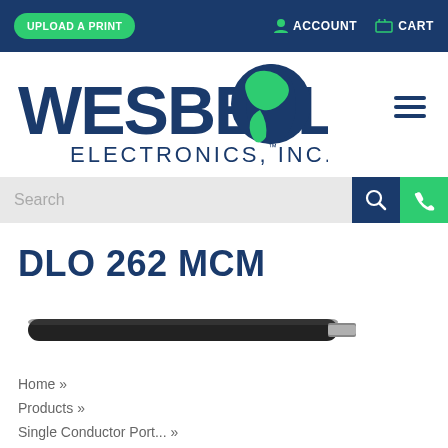UPLOAD A PRINT | ACCOUNT | CART
[Figure (logo): Wesbell Electronics, Inc. logo with globe graphic showing Americas in green, company name in dark blue]
Search
DLO 262 MCM
[Figure (photo): DLO 262 MCM cable product photo showing a thick black cable with exposed copper conductor tip]
Home »
Products »
Single Conductor Port... »